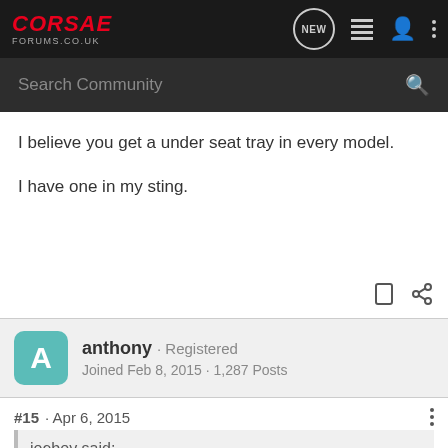CORSAE FORUMS.CO.UK
I believe you get a under seat tray in every model.

I have one in my sting.
anthony · Registered
Joined Feb 8, 2015 · 1,287 Posts
#15 · Apr 6, 2015
joeboy said: